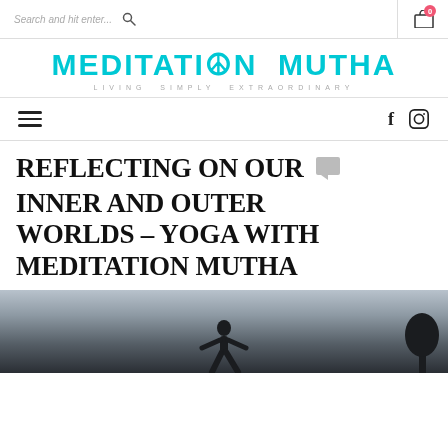Search and hit enter...
MEDITATION MUTHA
LIVING SIMPLY EXTRAORDINARY
Navigation bar with hamburger menu and social icons (f, Instagram)
REFLECTING ON OUR INNER AND OUTER WORLDS – YOGA WITH MEDITATION MUTHA
[Figure (photo): Hero photograph showing a yoga silhouette against a dramatic cloudy sky, with a tree silhouette on the right side]